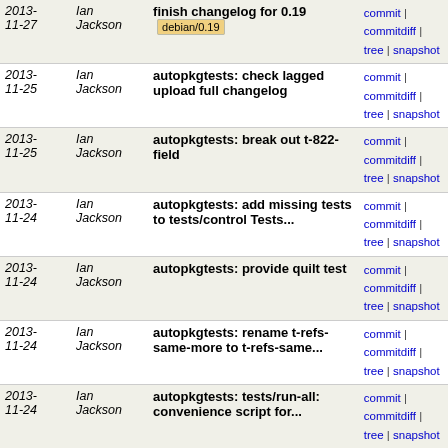| Date | Author | Commit Message | Links |
| --- | --- | --- | --- |
| 2013-11-27 | Ian Jackson | finish changelog for 0.19 [debian/0.19] | commit | commitdiff | tree | snapshot |
| 2013-11-25 | Ian Jackson | autopkgtests: check lagged upload full changelog | commit | commitdiff | tree | snapshot |
| 2013-11-25 | Ian Jackson | autopkgtests: break out t-822-field | commit | commitdiff | tree | snapshot |
| 2013-11-24 | Ian Jackson | autopkgtests: add missing tests to tests/control Tests... | commit | commitdiff | tree | snapshot |
| 2013-11-24 | Ian Jackson | autopkgtests: provide quilt test | commit | commitdiff | tree | snapshot |
| 2013-11-24 | Ian Jackson | autopkgtests: rename t-refs-same-more to t-refs-same... | commit | commitdiff | tree | snapshot |
| 2013-11-24 | Ian Jackson | autopkgtests: tests/run-all: convenience script for... | commit | commitdiff | tree | snapshot |
| 2013-11-24 | Ian Jackson | autopkgtests: reorganise t-refs-same et al. | commit | commitdiff | tree | snapshot |
| 2013-11-24 | Ian Jackson | autopkgtests: consistently say "echo ok." at end of... | commit | commitdiff | tree | snapshot |
| 2013-11-24 | Ian Jackson | autopkgtests: push-nextdgit: new test | commit | commitdiff | tree | snapshot |
| 2013-11-24 | Ian Jackson | autopkgtests: fetch-somegit-notlast: new test | commit | commitdiff | tree | snapshot |
| 2013-11-24 | Ian Jackson | autopkgtests: t-has-ancestor: cope with tag args and... | commit | commitdiff | tree | snapshot |
| 2013-11-24 | Ian Jackson | autopkgtests: t-git: take p and v args | commit | commitdiff | tree | snapshot |
| 2013-11-24 | Ian Jackson | autopkgtests: fetch-localgitonlu... | commit | ... |